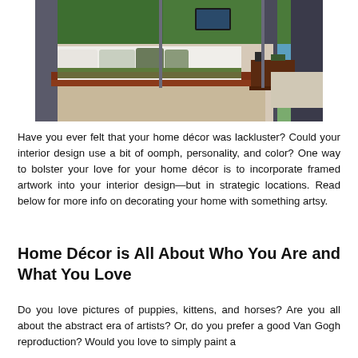[Figure (photo): A modern luxury bedroom with a large bed with white linens, green accent pillows, a wood platform frame, and large open windows/doors showing a tropical outdoor view with a pool and ocean in the background.]
Have you ever felt that your home décor was lackluster? Could your interior design use a bit of oomph, personality, and color? One way to bolster your love for your home décor is to incorporate framed artwork into your interior design—but in strategic locations. Read below for more info on decorating your home with something artsy.
Home Décor is All About Who You Are and What You Love
Do you love pictures of puppies, kittens, and horses? Are you all about the abstract era of artists? Or, do you prefer a good Van Gogh reproduction? Would you love to simply paint a